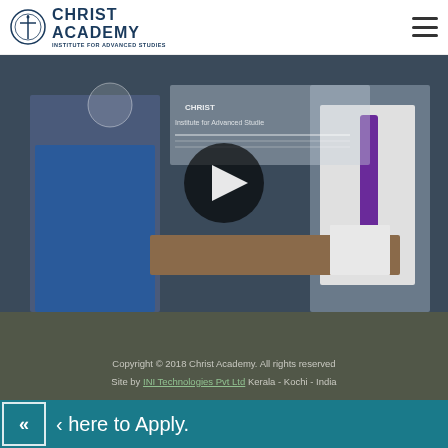CHRIST ACADEMY INSTITUTE FOR ADVANCED STUDIES
[Figure (screenshot): Video thumbnail showing two people in conversation at a desk inside Christ Academy Institute for Advanced Studies, with a play button overlay in the center. The institute's logo and 'Institute for Advanced Studies' text visible in the background glass.]
Copyright © 2018 Christ Academy. All rights reserved Site by INI Technologies Pvt Ltd Kerala - Kochi - India
‹ here to Apply.